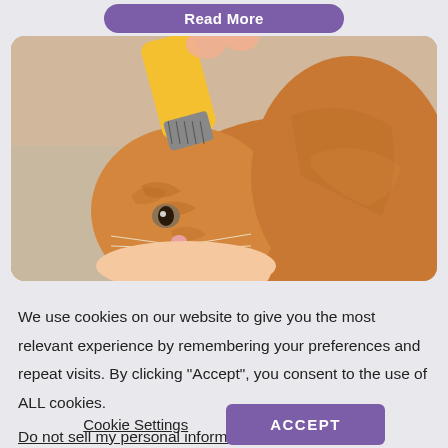[Figure (other): Partial purple rounded 'Read More' button visible at top of page]
[Figure (photo): Close-up photo of an orange tabby cat being groomed with a yellow brush held by a human hand]
We use cookies on our website to give you the most relevant experience by remembering your preferences and repeat visits. By clicking "Accept", you consent to the use of ALL cookies.
Do not sell my personal information.
Cookie Settings
ACCEPT